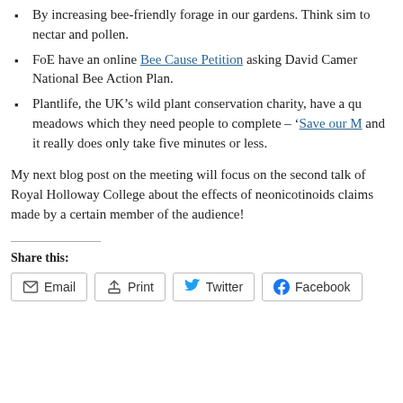By increasing bee-friendly forage in our gardens. Think sim to nectar and pollen.
FoE have an online Bee Cause Petition asking David Camer National Bee Action Plan.
Plantlife, the UK’s wild plant conservation charity, have a qu meadows which they need people to complete – ‘Save our M and it really does only take five minutes or less.
My next blog post on the meeting will focus on the second talk of Royal Holloway College about the effects of neonicotinoids claims made by a certain member of the audience!
Share this:
Email  Print  Twitter  Facebook